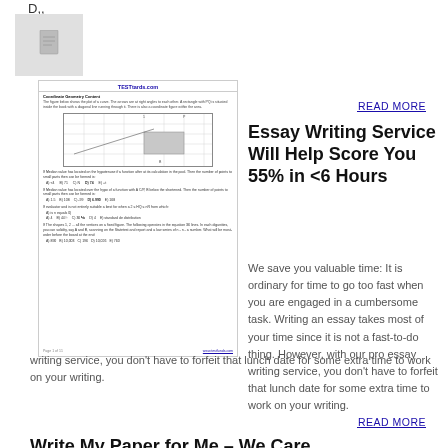D,,
[Figure (other): Placeholder image box with a document icon]
[Figure (screenshot): Thumbnail of a TESTtards.com Geometry or Mathematics exam page showing a grid figure, multiple choice questions with answer options]
READ MORE
Essay Writing Service Will Help Score You 55% in <6 Hours
We save you valuable time: It is ordinary for time to go too fast when you are engaged in a cumbersome task. Writing an essay takes most of your time since it is not a fast-to-do thing. However, with our pro essay writing service, you don't have to forfeit that lunch date for some extra time to work on your writing.
READ MORE
Write My Paper for Me – We Care